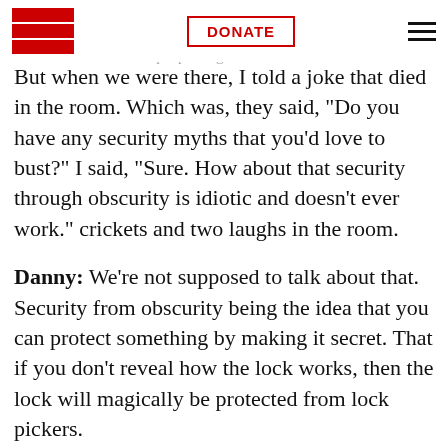EFF | DONATE | menu
Adam: … conference. I think the year after us, [someone/expert] made [it/a report] that conference. That's how people might remember it.
But when we were there, I told a joke that died in the room. Which was, they said, "Do you have any security myths that you'd love to bust?" I said, "Sure. How about that security through obscurity is idiotic and doesn't ever work." crickets and two laughs in the room.
Danny: We're not supposed to talk about that. Security from obscurity being the idea that you can protect something by making it secret. That if you don't reveal how the lock works, then the lock will magically be protected from lock pickers.
Adam: Well, and the absurdity of this is that these locks that the companies are hiding are effectively